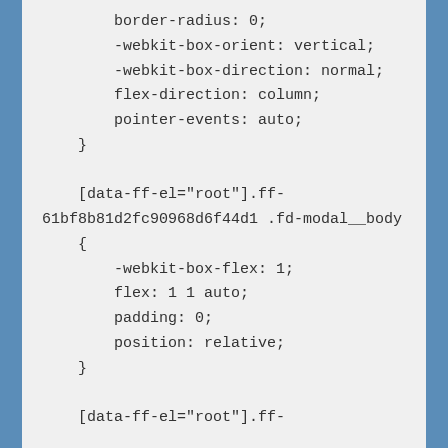border-radius: 0;
    -webkit-box-orient: vertical;
    -webkit-box-direction: normal;
    flex-direction: column;
    pointer-events: auto;
  }

  [data-ff-el="root"].ff-61bf8b81d2fc90968d6f44d1 .fd-modal__body
  {
      -webkit-box-flex: 1;
      flex: 1 1 auto;
      padding: 0;
      position: relative;
  }

  [data-ff-el="root"].ff-